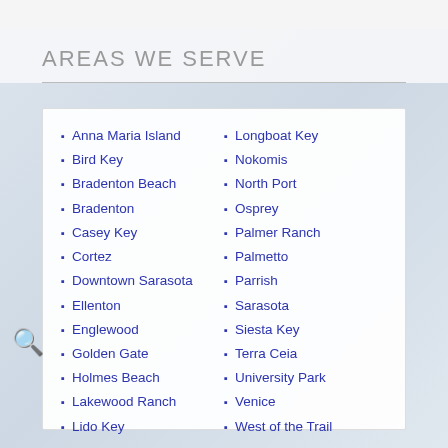AREAS WE SERVE
Anna Maria Island
Bird Key
Bradenton Beach
Bradenton
Casey Key
Cortez
Downtown Sarasota
Ellenton
Englewood
Golden Gate
Holmes Beach
Lakewood Ranch
Lido Key
Longboat Key
Nokomis
North Port
Osprey
Palmer Ranch
Palmetto
Parrish
Sarasota
Siesta Key
Terra Ceia
University Park
Venice
West of the Trail